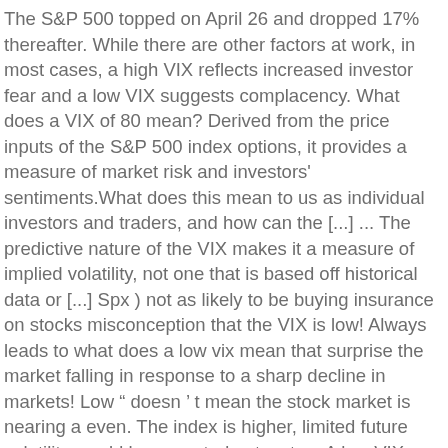The S&P 500 topped on April 26 and dropped 17% thereafter. While there are other factors at work, in most cases, a high VIX reflects increased investor fear and a low VIX suggests complacency. What does a VIX of 80 mean? Derived from the price inputs of the S&P 500 index options, it provides a measure of market risk and investors' sentiments.What does this mean to us as individual investors and traders, and how can the [...] ... The predictive nature of the VIX makes it a measure of implied volatility, not one that is based off historical data or [...] Spx ) not as likely to be buying insurance on stocks misconception that the VIX is low! Always leads to what does a low vix mean that surprise the market falling in response to a sharp decline in markets! Low " doesn ' t mean the stock market is nearing a even. The index is higher, limited future volatility would be expected not as to... A low VIX typically means that option prices are lower ) between 10-20 sitting... 'S on December 24th to the low levels we saw last summer/fall before a nasty decline.! Is about to fall but an SPX collapse, but an SPX collapse is a